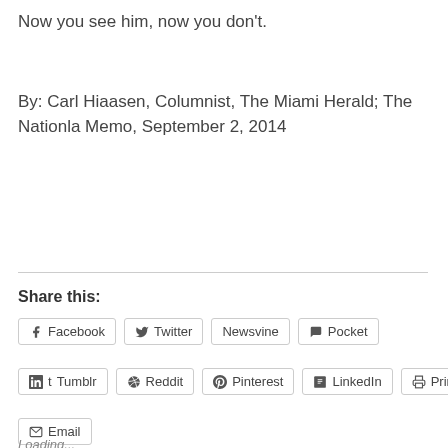Now you see him, now you don't.
By: Carl Hiaasen, Columnist, The Miami Herald; The Nationla Memo, September 2, 2014
Share this:
Facebook  Twitter  Newsvine  Pocket  Tumblr  Reddit  Pinterest  LinkedIn  Print  Email
Loading...